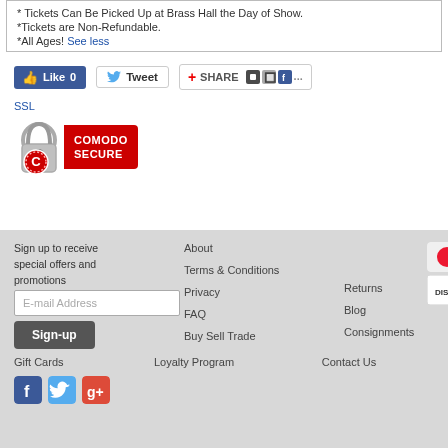* Tickets Can Be Picked Up at Brass Hall the Day of Show.
*Tickets are Non-Refundable.
*All Ages! See less
[Figure (screenshot): Facebook Like button showing 0 likes, Tweet button, and Share button with social media icons]
SSL
[Figure (logo): Comodo Secure SSL badge with padlock icon and red banner]
Sign up to receive special offers and promotions
[Figure (screenshot): Footer with navigation links: About, Terms & Conditions, Privacy, FAQ, Buy Sell Trade, Returns, Blog, Consignments, Gift Cards, Loyalty Program, Contact Us; payment icons for MasterCard, Visa, Discover, American Express, PayPal; social media icons for Facebook, Twitter, Google+]